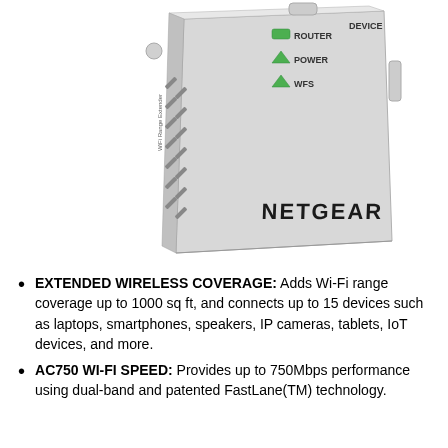[Figure (photo): A NETGEAR Wi-Fi range extender device shown in a 3/4 angle view. The device is gray/white with NETGEAR branding on the front. The top face shows LED indicators labeled ROUTER, DEVICE, POWER, and WFS. The left side has ventilation slots. The device has a folded plug/antenna visible.]
EXTENDED WIRELESS COVERAGE: Adds Wi-Fi range coverage up to 1000 sq ft, and connects up to 15 devices such as laptops, smartphones, speakers, IP cameras, tablets, IoT devices, and more.
AC750 WI-FI SPEED: Provides up to 750Mbps performance using dual-band and patented FastLane(TM) technology.